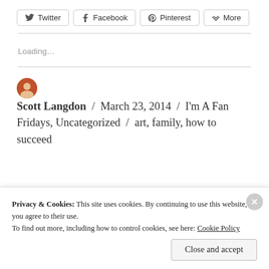[Figure (screenshot): Social share buttons: Twitter, Facebook, Pinterest, More]
Loading...
Scott Langdon / March 23, 2014 / I'm A Fan Fridays, Uncategorized / art, family, how to succeed
Privacy & Cookies: This site uses cookies. By continuing to use this website, you agree to their use.
To find out more, including how to control cookies, see here: Cookie Policy
Close and accept